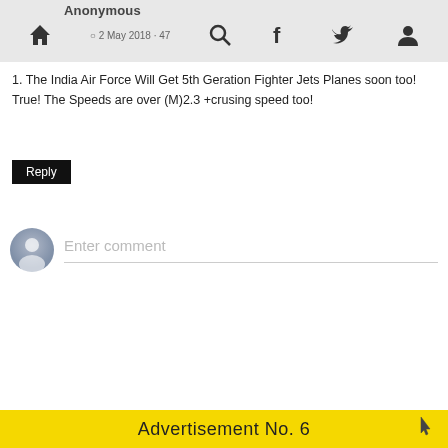Anonymous · 2 May 2018 · 47
1. The India Air Force Will Get 5th Geration Fighter Jets Planes soon too! True! The Speeds are over (M)2.3 +crusing speed too!
Reply
Enter comment
Advertisement No. 6